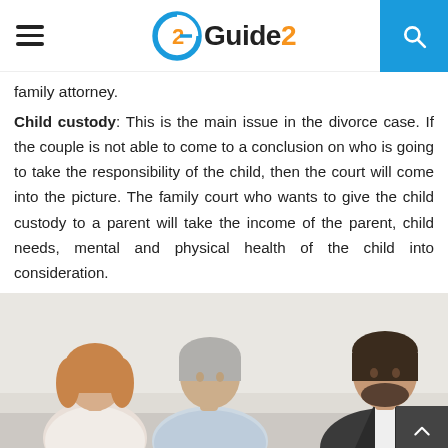Guide2
family attorney.
Child custody: This is the main issue in the divorce case. If the couple is not able to come to a conclusion on who is going to take the responsibility of the child, then the court will come into the picture. The family court who wants to give the child custody to a parent will take the income of the parent, child needs, mental and physical health of the child into consideration.
[Figure (photo): Three people in a meeting setting: a woman with red/blonde hair, an older man with grey hair, and a younger bearded man in a suit, appearing to discuss something at a table.]